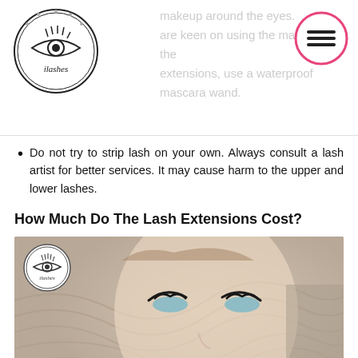makeup around the eyes.
are keen on using the mascara on the extensions, use a waterproof mascara wand.
Do not try to strip lash on your own. Always consult a lash artist for better services. It may cause harm to the upper and lower lashes.
How Much Do The Lash Extensions Cost?
[Figure (photo): Close-up portrait of a young woman with dramatic lash extensions, striking light eyes, wearing dark clothing, with a swirling patterned background. A circular lash logo watermark is in the upper left corner of the image. A pink scroll-to-top button is in the lower right corner.]
The cost of the lash extensions is not very high, and you will easily manage it within your budget. But the overall cost of the lash extensions